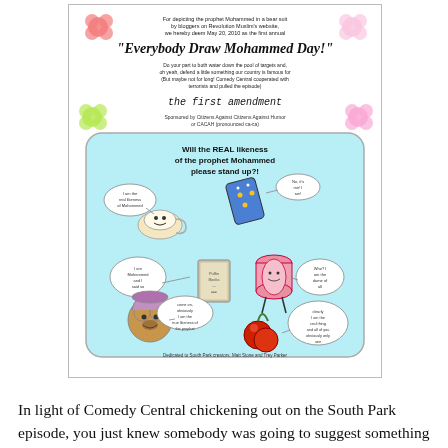[Figure (illustration): A flyer for 'Everybody Draw Mohammed Day' dated May 20, 2010, with colorful decorative flowers/dots, text about the first amendment, and a cartoon image showing various objects with speech bubbles asking 'Will the REAL likeness of the prophet Mohammed please stand up?!' on a light blue background. Caption at bottom references South Park characters.]
In light of Comedy Central chickening out on the South Park episode, you just knew somebody was going to suggest something